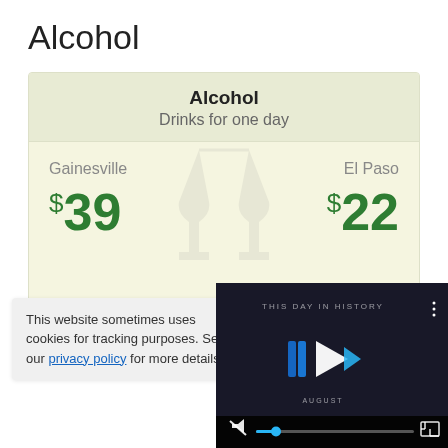Alcohol
| Alcohol |  |
| --- | --- |
| Drinks for one day |  |
| Gainesville | El Paso |
| $39 | $22 |
This website sometimes uses cookies for tracking purposes. See our privacy policy for more details.
[Figure (screenshot): Video player with dark background showing 'THIS DAY IN HISTORY' label, a play button with blue chevron icons, AUGUST label at bottom, mute button, progress bar with blue dot, and fullscreen button]